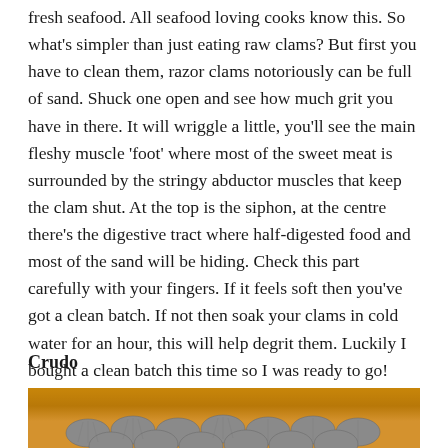fresh seafood. All seafood loving cooks know this. So what's simpler than just eating raw clams? But first you have to clean them, razor clams notoriously can be full of sand. Shuck one open and see how much grit you have in there. It will wriggle a little, you'll see the main fleshy muscle 'foot' where most of the sweet meat is surrounded by the stringy abductor muscles that keep the clam shut. At the top is the siphon, at the centre there's the digestive tract where half-digested food and most of the sand will be hiding. Check this part carefully with your fingers. If it feels soft then you've got a clean batch. If not then soak your clams in cold water for an hour, this will help degrit them. Luckily I bought a clean batch this time so I was ready to go!
Crudo
[Figure (photo): Photo of razor clams on a wooden board, partially cropped at bottom of page]